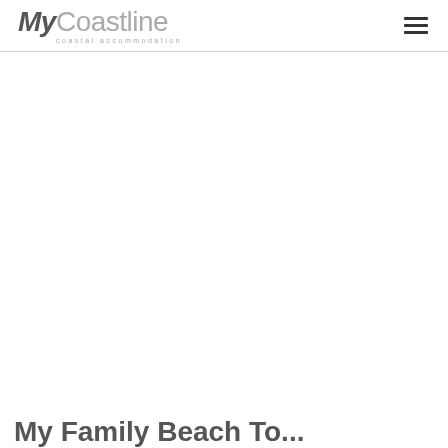MyCoastline coastal accommodation
My Family Beach To...